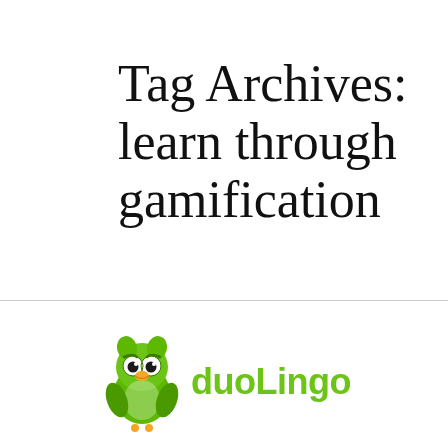Tag Archives: learn through gamification
[Figure (logo): Duolingo logo: green owl mascot with eyes and orange beak, with text 'duoLingo' in green beside it]